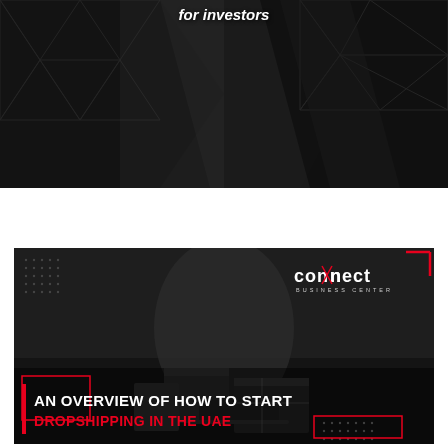[Figure (photo): Dark background image showing angular geometric/architectural reflective surfaces with diamond patterns, with italic bold white text 'for investors' overlaid at the top]
[Figure (infographic): Dark monochrome promotional image showing a person packing boxes/parcels for dropshipping, with Connect Business Center logo in top right, decorative dot patterns, red outline rectangles, and bold overlay text reading 'AN OVERVIEW OF HOW TO START DROPSHIPPING IN THE UAE' with red vertical bar accent]